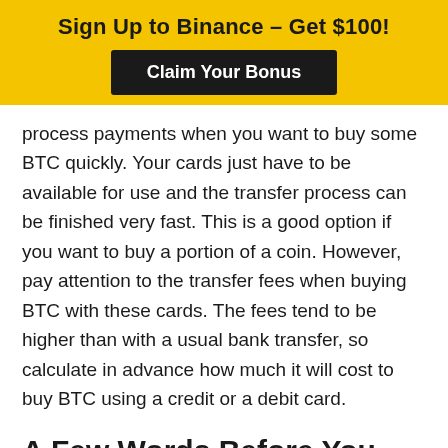Sign Up to Binance – Get $100!
Claim Your Bonus
process payments when you want to buy some BTC quickly. Your cards just have to be available for use and the transfer process can be finished very fast. This is a good option if you want to buy a portion of a coin. However, pay attention to the transfer fees when buying BTC with these cards. The fees tend to be higher than with a usual bank transfer, so calculate in advance how much it will cost to buy BTC using a credit or a debit card.
A Few Words Before You Go...